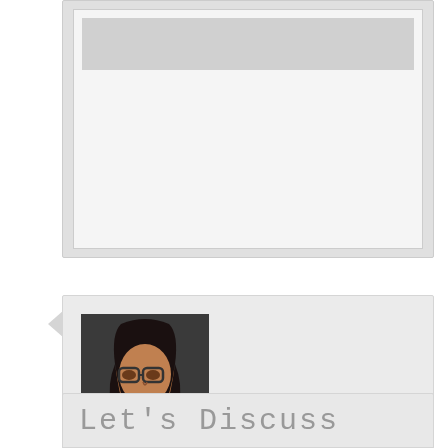[Figure (screenshot): Partial comment box from a previous comment showing a text input area with a gray background]
[Figure (photo): Profile photo of mistysbookspace, a person with long dark hair and glasses sitting in a car]
mistysbookspace on August 7, 2017 at 8:20 pm said:
I just finished A Wrinkle in Time a couple days ago.
Log in to Reply
Let's Discuss